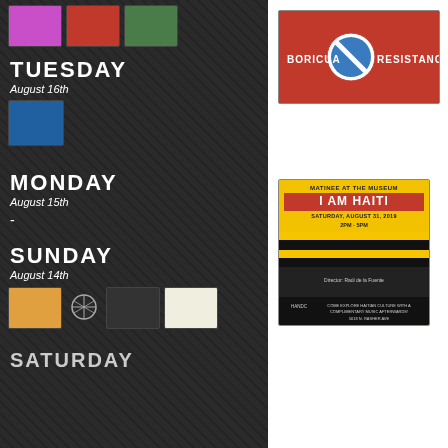[Figure (photo): Three small thumbnail images in a row at the top of the left column]
TUESDAY
August 16th
[Figure (photo): One small thumbnail image below Tuesday header]
MONDAY
August 15th
-
SUNDAY
August 14th
[Figure (photo): Four small thumbnail images in a row below Sunday header]
SATURDAY
[Figure (photo): Boricua Resistance red flag image on right column]
[Figure (photo): I Am Haiti museum matinee poster on right column]